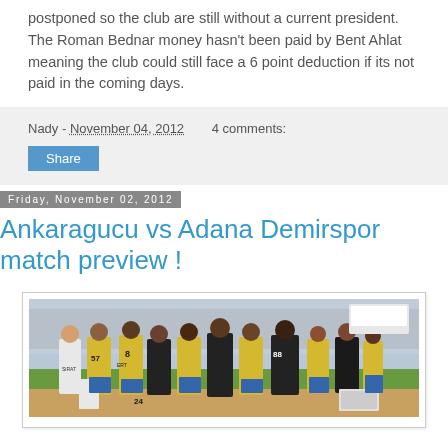postponed so the club are still without a current president. The Roman Bednar money hasn't been paid by Bent Ahlat meaning the club could still face a 6 point deduction if its not paid in the coming days.
Nady - November 04, 2012    4 comments:
Share
Friday, November 02, 2012
Ankaragucu vs Adana Demirspor match preview !
[Figure (photo): Football players in yellow and dark jerseys huddled together on a pitch, numbers 57, 8, and 88 visible on shirts]